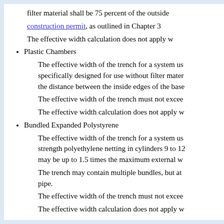filter material shall be 75 percent of the outside [text cut off]
A construction permit, as outlined in Chapter 3 [text cut off]
The effective width calculation does not apply w[text cut off]
Plastic Chambers
The effective width of the trench for a system us[text cut off] specifically designed for use without filter mater[text cut off] the distance between the inside edges of the base[text cut off]
The effective width of the trench must not excee[text cut off]
The effective width calculation does not apply w[text cut off]
Bundled Expanded Polystyrene
The effective width of the trench for a system us[text cut off] strength polyethylene netting in cylinders 9 to 12[text cut off] may be up to 1.5 times the maximum external w[text cut off]
The trench may contain multiple bundles, but at [text cut off] pipe.
The effective width of the trench must not excee[text cut off]
The effective width calculation does not apply w[text cut off]